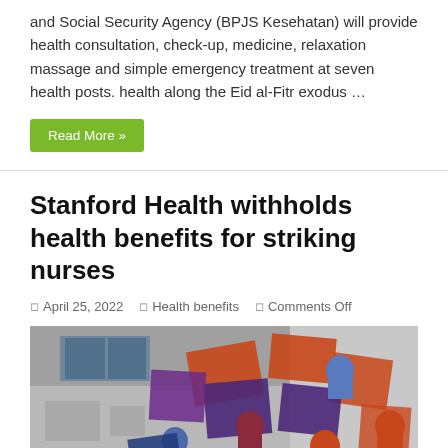and Social Security Agency (BPJS Kesehatan) will provide health consultation, check-up, medicine, relaxation massage and simple emergency treatment at seven health posts. health along the Eid al-Fitr exodus …
Read More »
Stanford Health withholds health benefits for striking nurses
April 25, 2022   Health benefits   Comments Off
[Figure (photo): Black and white photo of a building with colorful illustrated protest fists raised holding signs in orange, purple, blue, and red colors overlaid on the photo]